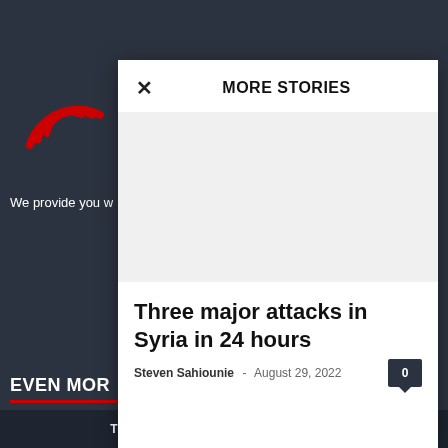[Figure (screenshot): Dark-themed news website background with red circular logo icon and partial text 'We provide you w...' and 'EVEN MOR' section header with red underline]
MORE STORIES
Three major attacks in Syria in 24 hours
Steven Sahiounie - August 29, 2022
Three major attacks in Syria in 24 hours